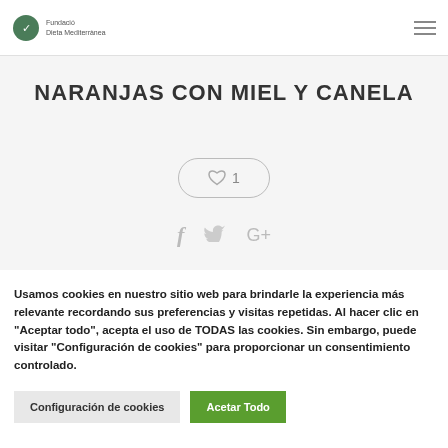Fundació Dieta Mediterrànea
NARANJAS CON MIEL Y CANELA
[Figure (other): Heart/like button with count '1' inside a rounded rectangle]
[Figure (other): Social share icons: Facebook (f), Twitter (bird), Google+ (G+)]
Usamos cookies en nuestro sitio web para brindarle la experiencia más relevante recordando sus preferencias y visitas repetidas. Al hacer clic en "Aceptar todo", acepta el uso de TODAS las cookies. Sin embargo, puede visitar "Configuración de cookies" para proporcionar un consentimiento controlado.
Configuración de cookies
Acetar Todo